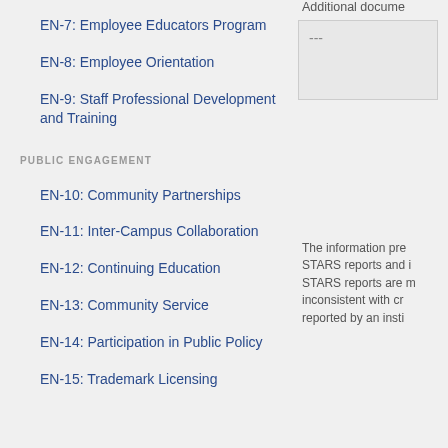EN-7: Employee Educators Program
EN-8: Employee Orientation
EN-9: Staff Professional Development and Training
PUBLIC ENGAGEMENT
EN-10: Community Partnerships
EN-11: Inter-Campus Collaboration
EN-12: Continuing Education
EN-13: Community Service
EN-14: Participation in Public Policy
EN-15: Trademark Licensing
Additional docume
---
The information pre STARS reports and i STARS reports are m inconsistent with cr reported by an insti